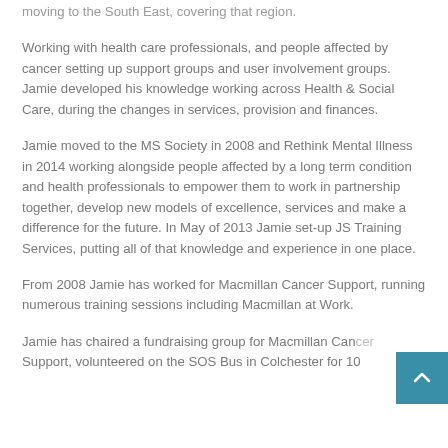moving to the South East, covering that region.
Working with health care professionals, and people affected by cancer setting up support groups and user involvement groups. Jamie developed his knowledge working across Health & Social Care, during the changes in services, provision and finances.
Jamie moved to the MS Society in 2008 and Rethink Mental Illness in 2014 working alongside people affected by a long term condition and health professionals to empower them to work in partnership together, develop new models of excellence, services and make a difference for the future. In May of 2013 Jamie set-up JS Training Services, putting all of that knowledge and experience in one place.
From 2008 Jamie has worked for Macmillan Cancer Support, running numerous training sessions including Macmillan at Work.
Jamie has chaired a fundraising group for Macmillan Cancer Support, volunteered on the SOS Bus in Colchester for 10